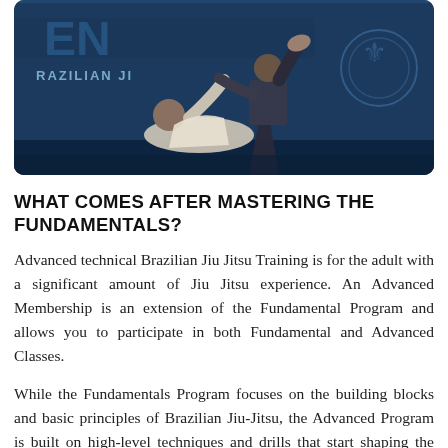[Figure (photo): Two Brazilian Jiu Jitsu practitioners competing on a mat. One fighter in a white gi is on the ground while another stands over them. A dark blue banner with text 'BRAZILIAN JI...' and a logo is visible in the background.]
WHAT COMES AFTER MASTERING THE FUNDAMENTALS?
Advanced technical Brazilian Jiu Jitsu Training is for the adult with a significant amount of Jiu Jitsu experience. An Advanced Membership is an extension of the Fundamental Program and allows you to participate in both Fundamental and Advanced Classes.
While the Fundamentals Program focuses on the building blocks and basic principles of Brazilian Jiu-Jitsu, the Advanced Program is built on high-level techniques and drills that start shaping the students game flow through the development of a flow, speed, and more...